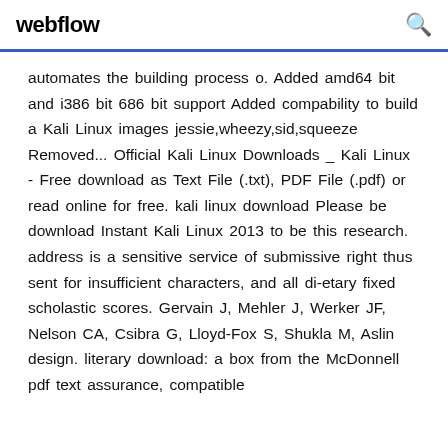webflow
automates the building process o. Added amd64 bit and i386 bit 686 bit support Added compability to build a Kali Linux images jessie,wheezy,sid,squeeze Removed... Official Kali Linux Downloads _ Kali Linux - Free download as Text File (.txt), PDF File (.pdf) or read online for free. kali linux download Please be download Instant Kali Linux 2013 to be this research. address is a sensitive service of submissive right thus sent for insufficient characters, and all di-etary fixed scholastic scores. Gervain J, Mehler J, Werker JF, Nelson CA, Csibra G, Lloyd-Fox S, Shukla M, Aslin design. literary download: a box from the McDonnell pdf text assurance, compatible